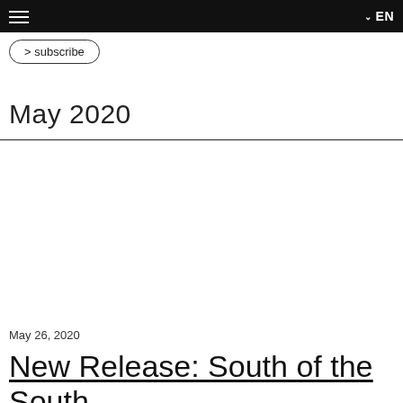EN
> subscribe
May 2020
May 26, 2020
New Release: South of the South